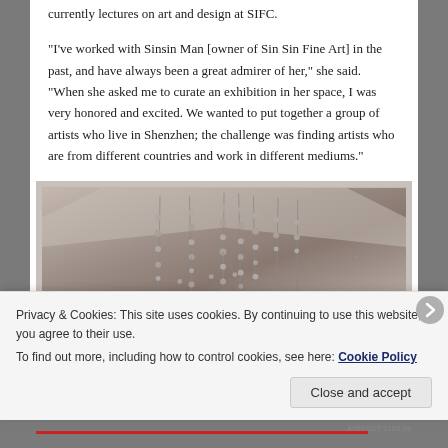currently lectures on art and design at SIFC.
“I’ve worked with Sinsin Man [owner of Sin Sin Fine Art] in the past, and have always been a great admirer of her,” she said. “When she asked me to curate an exhibition in her space, I was very honored and excited. We wanted to put together a group of artists who live in Shenzhen; the challenge was finding artists who are from different countries and work in different mediums.”
[Figure (photo): Interior photograph showing hanging bead or sphere installations from a ceiling, with thin wires/branches, in a gallery space with soft neutral tones]
Privacy & Cookies: This site uses cookies. By continuing to use this website, you agree to their use.
To find out more, including how to control cookies, see here: Cookie Policy
Close and accept